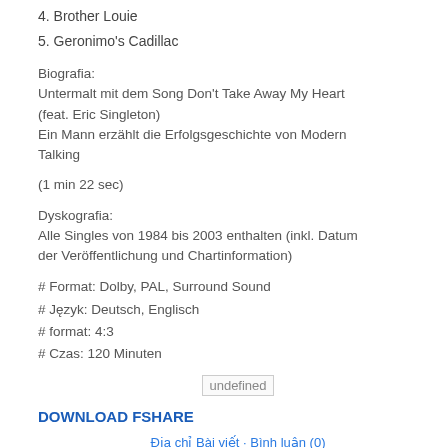4. Brother Louie
5. Geronimo's Cadillac
Biografia:
Untermalt mit dem Song Don't Take Away My Heart (feat. Eric Singleton)
Ein Mann erzählt die Erfolgsgeschichte von Modern Talking
(1 min 22 sec)
Dyskografia:
Alle Singles von 1984 bis 2003 enthalten (inkl. Datum der Veröffentlichung und Chartinformation)
# Format: Dolby, PAL, Surround Sound
# Język: Deutsch, Englisch
# format: 4:3
# Czas: 120 Minuten
[Figure (other): undefined image placeholder]
DOWNLOAD FSHARE
Địa chỉ Bài viết · Bình luận (0)